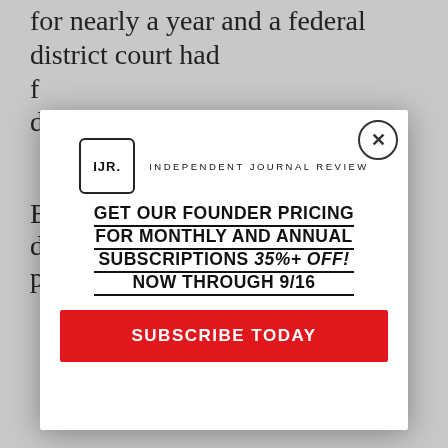for nearly a year and a federal district court had f... d...
B... d... p...
[Figure (screenshot): Modal popup overlay for Independent Journal Review subscription promotion. Contains IJR logo, text 'GET OUR FOUNDER PRICING FOR MONTHLY AND ANNUAL SUBSCRIPTIONS 35%+ OFF! NOW THROUGH 9/16', and a red 'SUBSCRIBE TODAY' button. Close (X) button in top-right corner.]